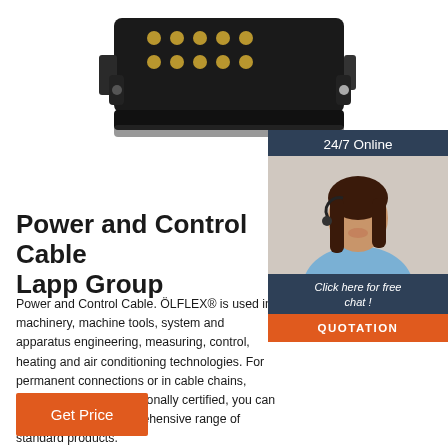[Figure (photo): Close-up photo of a black multi-pin electrical connector with gold contacts, partially visible at top of page]
[Figure (photo): Customer service agent (woman with headset) with '24/7 Online' label, 'Click here for free chat!' button, and orange QUOTATION button in a dark sidebar widget]
Power and Control Cable Lapp Group
Power and Control Cable. ÖLFLEX® is used in machinery, machine tools, system and apparatus engineering, measuring, control, heating and air conditioning technologies. For permanent connections or in cable chains, halogen-free or internationally certified, you can choose from our comprehensive range of standard products.
Get Price